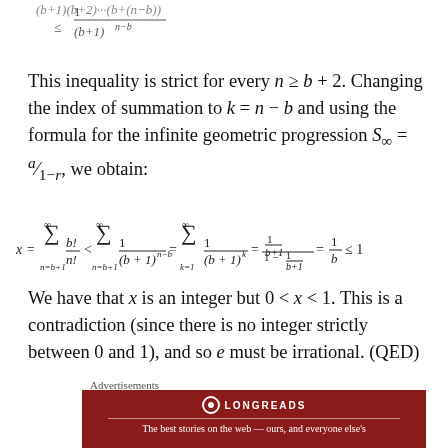This inequality is strict for every n ≥ b + 2. Changing the index of summation to k = n − b and using the formula for the infinite geometric progression S∞ = a/(1−r), we obtain:
We have that x is an integer but 0 < x < 1. This is a contradiction (since there is no integer strictly between 0 and 1), and so e must be irrational. (QED)
Advertisements
[Figure (other): Longreads advertisement banner with dark red background showing logo and tagline 'The best stories on the web — ours, and everyone else's']